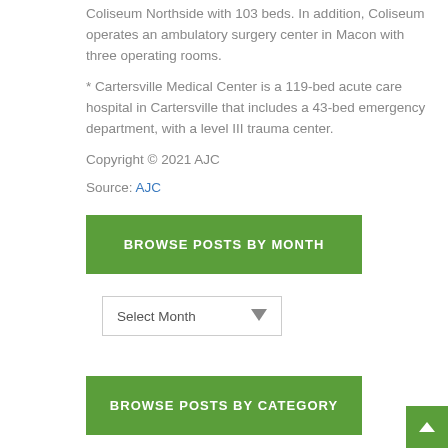Coliseum Northside with 103 beds. In addition, Coliseum operates an ambulatory surgery center in Macon with three operating rooms.
* Cartersville Medical Center is a 119-bed acute care hospital in Cartersville that includes a 43-bed emergency department, with a level III trauma center.
Copyright © 2021 AJC
Source: AJC
BROWSE POSTS BY MONTH
Select Month
BROWSE POSTS BY CATEGORY